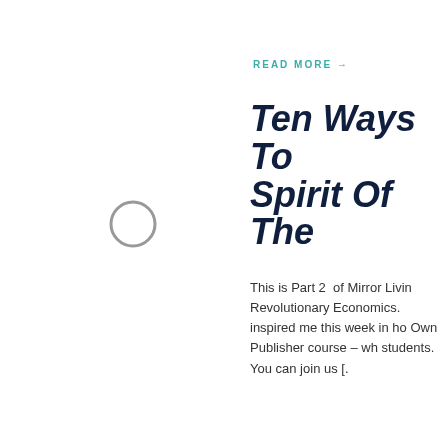[Figure (illustration): A small grey ring or circle graphic on the left side of the page]
READ MORE →
Ten Ways To Spirit Of The
This is Part 2  of Mirror Livin Revolutionary Economics. inspired me this week in h Own Publisher course – w students. You can join us [.
READ MORE →
Revolutionar Map The Gi